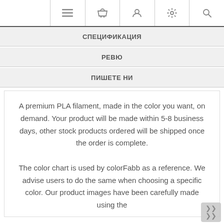[Figure (screenshot): Navigation bar with hamburger menu, shopping basket, user account, settings gear, and search icons]
СПЕЦИФИКАЦИЯ
РЕВЮ
ПИШЕТЕ НИ
A premium PLA filament, made in the color you want, on demand. Your product will be made within 5-8 business days, other stock products ordered will be shipped once the order is complete.

The color chart is used by colorFabb as a reference. We advise users to do the same when choosing a specific color. Our product images have been carefully made using the